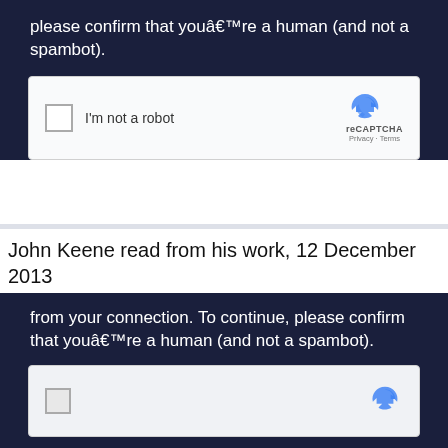please confirm that youâ€™re a human (and not a spambot).
[Figure (screenshot): reCAPTCHA widget with checkbox labeled 'I'm not a robot' and reCAPTCHA logo with Privacy and Terms links]
John Keene read from his work, 12 December 2013
from your connection. To continue, please confirm that youâ€™re a human (and not a spambot).
[Figure (screenshot): Second reCAPTCHA widget partially visible]